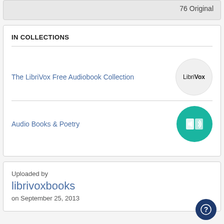76 Original
IN COLLECTIONS
The LibriVox Free Audiobook Collection
Audio Books & Poetry
Uploaded by
librivoxbooks
on September 25, 2013